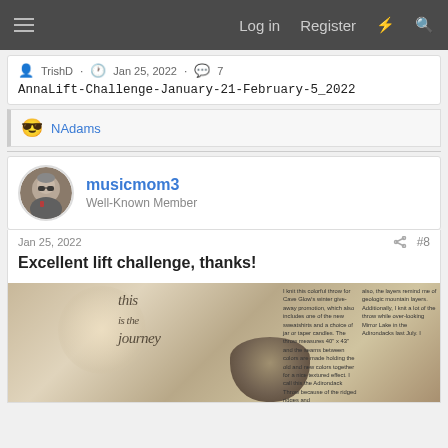☰  Log in  Register  ⚡  🔍
TrishD · Jan 25, 2022 · 7
AnnaLift-Challenge-January-21-February-5_2022
😎 NAdams
musicmom3
Well-Known Member
Jan 25, 2022  #8
Excellent lift challenge, thanks!
[Figure (photo): Decorative image with cursive text reading 'this is the journey' overlaid on a nature/landscape background with rocks and warm tones. Two columns of small descriptive text on the right side about a colorful throw knitted for Cave Glow's winter giveaway promotion.]